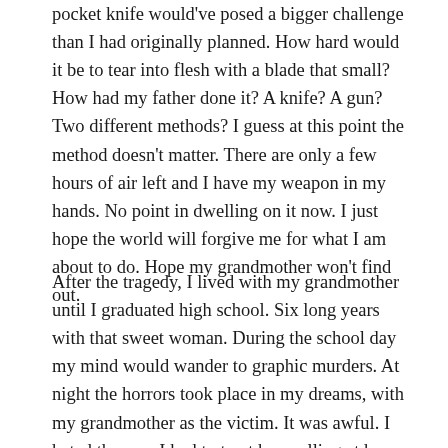pocket knife would've posed a bigger challenge than I had originally planned. How hard would it be to tear into flesh with a blade that small? How had my father done it? A knife? A gun? Two different methods? I guess at this point the method doesn't matter. There are only a few hours of air left and I have my weapon in my hands. No point in dwelling on it now. I just hope the world will forgive me for what I am about to do. Hope my grandmother won't find out.
After the tragedy, I lived with my grandmother until I graduated high school. Six long years with that sweet woman. During the school day my mind would wander to graphic murders. At night the horrors took place in my dreams, with my grandmother as the victim. It was awful. I hated the way I had to treat her, yelling at her when she asked me to help with dishes. There were more I could tell you self to not to